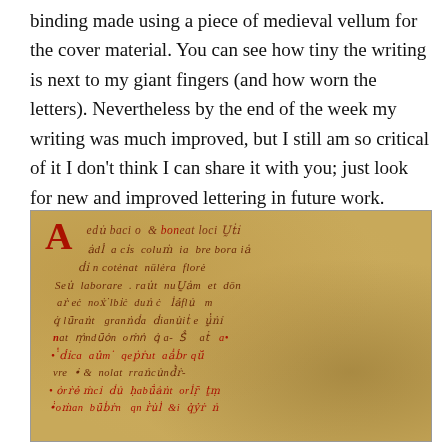binding made using a piece of medieval vellum for the cover material. You can see how tiny the writing is next to my giant fingers (and how worn the letters). Nevertheless by the end of the week my writing was much improved, but I still am so critical of it I don't think I can share it with you; just look for new and improved lettering in future work.
[Figure (photo): Close-up photograph of a piece of medieval vellum showing handwritten Latin text in dark red/brown ink with red rubricated initial letter 'A', on aged yellow-brown parchment background.]